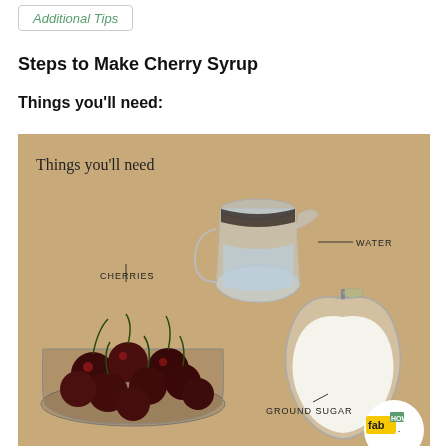Additional Tips
Steps to Make Cherry Syrup
Things you'll need:
[Figure (photo): Photo of ingredients for cherry syrup: a glass pitcher of water labeled WATER, a glass bowl of cherries labeled CHERRIES, and an apple-shaped glass dish of ground sugar labeled GROUND SUGAR, on a tan/kraft paper background. Text 'Things you'll need' appears in upper left. FabHow logo in bottom right corner.]